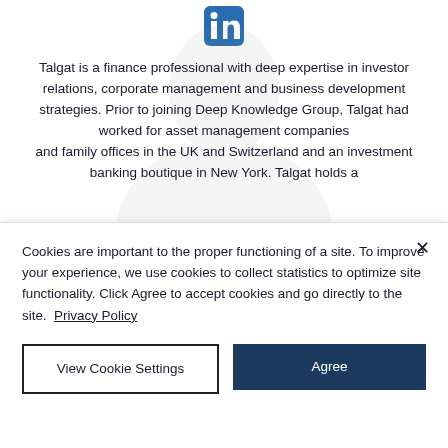[Figure (logo): LinkedIn logo icon in blue at top center]
Talgat is a finance professional with deep expertise in investor relations, corporate management and business development strategies. Prior to joining Deep Knowledge Group, Talgat had worked for asset management companies and family offices in the UK and Switzerland and an investment banking boutique in New York. Talgat holds a
Cookies are important to the proper functioning of a site. To improve your experience, we use cookies to collect statistics to optimize site functionality. Click Agree to accept cookies and go directly to the site. Privacy Policy